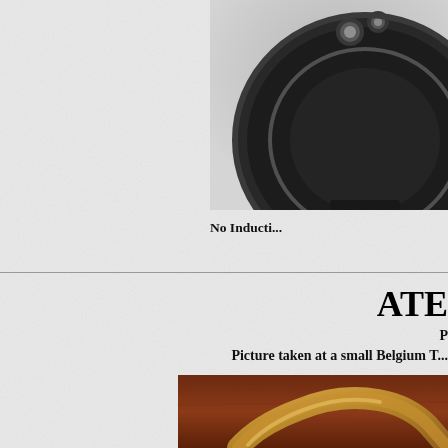[Figure (photo): Black and white photograph of an antique instrument or valve with round dark metal casing and fittings, partially cropped, visible in top right portion of page]
No Inducti...
ATE...
Picture taken at a small Belgium T...
[Figure (photo): Color photograph of antique brass instrument or vessel with a curved handle/arm visible against a dark wooden background]